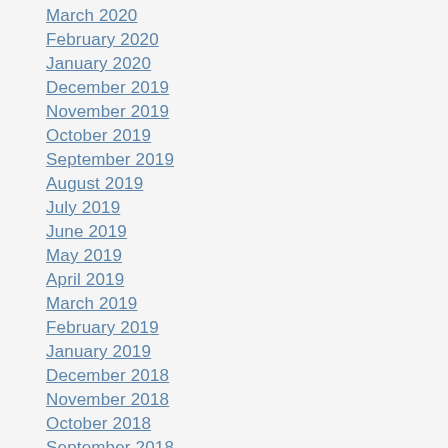March 2020
February 2020
January 2020
December 2019
November 2019
October 2019
September 2019
August 2019
July 2019
June 2019
May 2019
April 2019
March 2019
February 2019
January 2019
December 2018
November 2018
October 2018
September 2018
August 2018